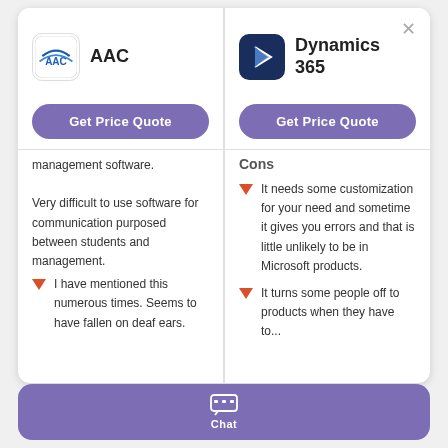[Figure (screenshot): Comparison widget showing AAC and Dynamics 365 products with Get Price Quote buttons]
management software. Very difficult to use software for communication purposed between students and management.
I have mentioned this numerous times. Seems to have fallen on deaf ears.
Cons
It needs some customization for your need and sometime it gives you errors and that is little unlikely to be in Microsoft products.
It turns some people off to products when they have to...